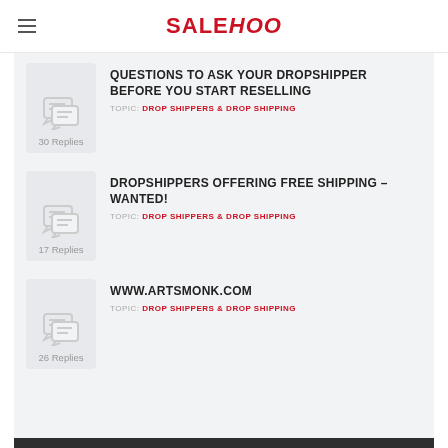SALEHOO
QUESTIONS TO ASK YOUR DROPSHIPPER BEFORE YOU START RESELLING — TOPIC: DROP SHIPPERS & DROP SHIPPING — 30 Replies
DROPSHIPPERS OFFERING FREE SHIPPING – WANTED! — TOPIC: DROP SHIPPERS & DROP SHIPPING — 17 Replies
WWW.ARTSMONK.COM — TOPIC: DROP SHIPPERS & DROP SHIPPING — 26 Replies